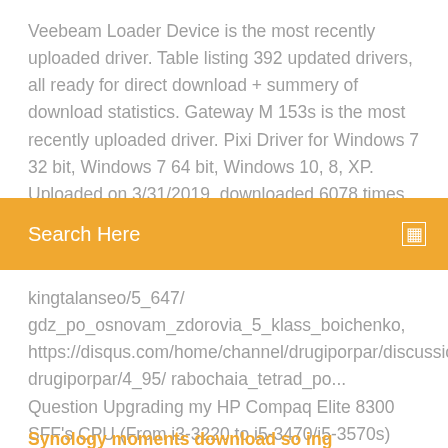Veebeam Loader Device is the most recently uploaded driver. Table listing 392 updated drivers, all ready for direct download + summery of download statistics. Gateway M 153s is the most recently uploaded driver. Pixi Driver for Windows 7 32 bit, Windows 7 64 bit, Windows 10, 8, XP. Uploaded on 3/31/2019, downloaded 6078 times, receiving a 95/100 rating by 4170
Search Here
kingtalanseo/5_647/ gdz_po_osnovam_zdorovia_5_klass_boichenko, https://disqus.com/home/channel/drugiporpar/discussion/channe drugiporpar/4_95/ rabochaia_tetrad_po... Question Upgrading my HP Compaq Elite 8300 SFF's CPU (From i3-3220 to i5-3470/i5-3570s) Question Compaq CQ60-615DX Notebook: Question can i install a core 2 duo e7500 processor on hp compaq dx2300 microtower I ordered another CPU form a...
Synology moments download so ing